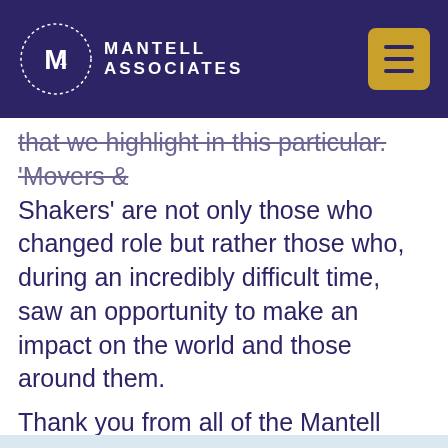Mantell Associates
that we highlight in this particular. 'Movers & Shakers' are not only those who changed role but rather those who, during an incredibly difficult time, saw an opportunity to make an impact on the world and those around them.
Thank you from all of the Mantell Associates team – we hope you enjoy it!
This website uses cookies to ensure you get the best experience. read more
Got it!